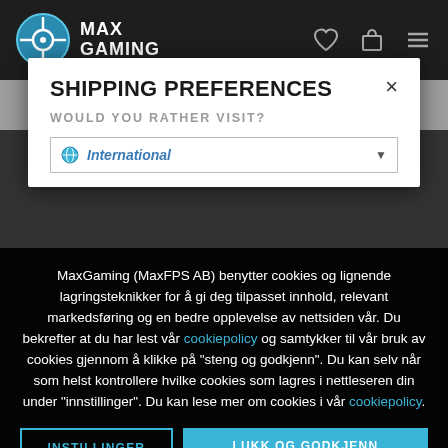[Figure (screenshot): MaxGaming website navigation bar with logo, heart, cart and menu icons]
SHIPPING PREFERENCES
WOULD YOU RATHER VISIT?
MaxGaming (MaxFPS AB) benytter cookies og lignende lagringsteknikker for å gi deg tilpasset innhold, relevant markedsføring og en bedre opplevelse av nettsiden vår. Du bekrefter at du har lest vår cookiepolicy og samtykker til vår bruk av cookies gjennom å klikke på "steng og godkjenn". Du kan selv når som helst kontrollere hvilke cookies som lagres i nettleseren din under "innstillinger". Du kan lese mer om cookies i vår cookiepolicy.
INSTILLINGER
LUKK OG GODKJENN